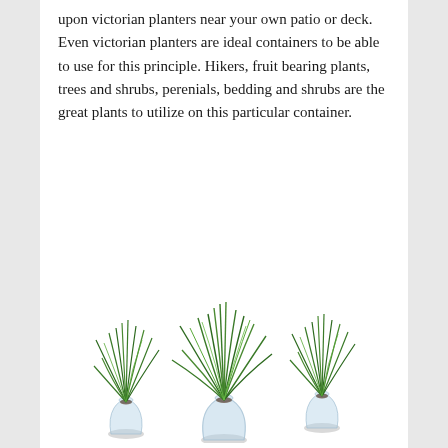upon victorian planters near your own patio or deck. Even victorian planters are ideal containers to be able to use for this principle. Hikers, fruit bearing plants, trees and shrubs, perenials, bedding and shrubs are the great plants to utilize on this particular container.
[Figure (photo): Three glass vases each containing tall green grass-like plants with long, curved, wispy blades, arranged side by side against a white background. The left and right vases are slightly smaller/shorter; the center vase is the largest and positioned slightly forward.]